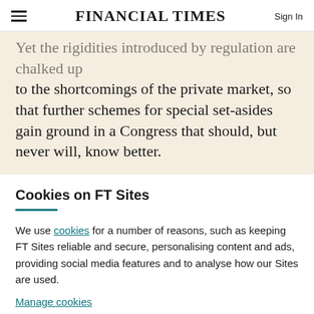FINANCIAL TIMES | Sign In
Yet the rigidities introduced by regulation are chalked up to the shortcomings of the private market, so that further schemes for special set-asides gain ground in a Congress that should, but never will, know better.
Cookies on FT Sites
We use cookies for a number of reasons, such as keeping FT Sites reliable and secure, personalising content and ads, providing social media features and to analyse how our Sites are used.
Manage cookies
Accept & continue